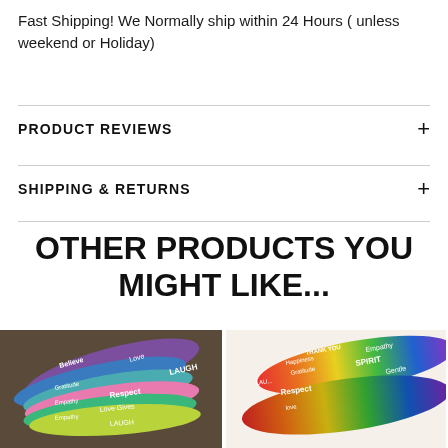Fast Shipping! We Normally ship within 24 Hours ( unless weekend or Holiday)
PRODUCT REVIEWS
SHIPPING & RETURNS
OTHER PRODUCTS YOU MIGHT LIKE...
[Figure (photo): Colorful silicone wristbands with inspirational words like Believe, Love, Laugh, Respect, Gratitude, Empathy, stacked together on a dark surface]
[Figure (photo): Rainbow-colored silicone wristbands with words like Thank You, Happiness, Spirit, Empathy, Gratitude, Gentle, Respect, stacked together]